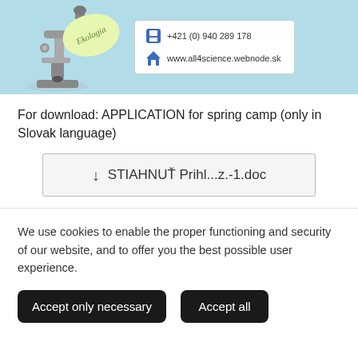[Figure (illustration): Website banner with light blue background showing a microscope illustration on the left, an oval yellow-green bubble with cursive text 'Ekologia', and a white contact box on the right with phone number +421 (0) 940 289 178 and website www.all4science.webnode.sk with respective icons.]
For download: APPLICATION for spring camp (only in Slovak language)
STIAHNUŤ Prihl...z.-1.doc
We use cookies to enable the proper functioning and security of our website, and to offer you the best possible user experience.
Accept only necessary
Accept all